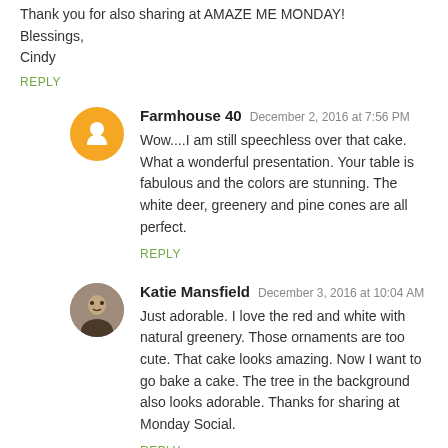Thank you for also sharing at AMAZE ME MONDAY!
Blessings,
Cindy
REPLY
Farmhouse 40  December 2, 2016 at 7:56 PM
Wow....I am still speechless over that cake. What a wonderful presentation. Your table is fabulous and the colors are stunning. The white deer, greenery and pine cones are all perfect.
REPLY
Katie Mansfield  December 3, 2016 at 10:04 AM
Just adorable. I love the red and white with natural greenery. Those ornaments are too cute. That cake looks amazing. Now I want to go bake a cake. The tree in the background also looks adorable. Thanks for sharing at Monday Social.
REPLY